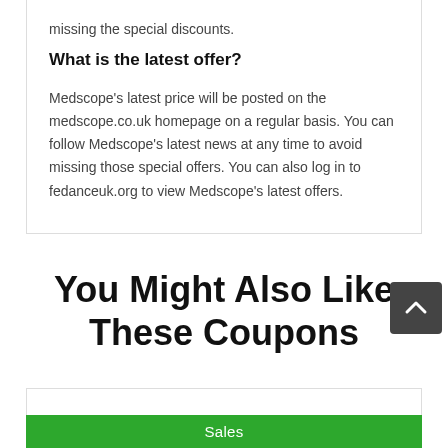missing the special discounts.
What is the latest offer?
Medscope's latest price will be posted on the medscope.co.uk homepage on a regular basis. You can follow Medscope's latest news at any time to avoid missing those special offers. You can also log in to fedanceuk.org to view Medscope's latest offers.
You Might Also Like These Coupons
Sales